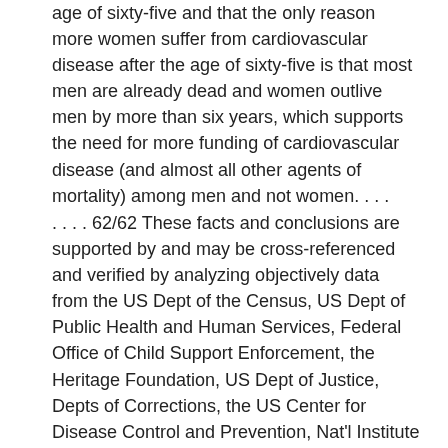age of sixty-five and that the only reason more women suffer from cardiovascular disease after the age of sixty-five is that most men are already dead and women outlive men by more than six years, which supports the need for more funding of cardiovascular disease (and almost all other agents of mortality) among men and not women. . . .
. . . . 62/62 These facts and conclusions are supported by and may be cross-referenced and verified by analyzing objectively data from the US Dept of the Census, US Dept of Public Health and Human Services, Federal Office of Child Support Enforcement, the Heritage Foundation, US Dept of Justice, Depts of Corrections, the US Center for Disease Control and Prevention, Nat'l Institute of Mental Health, Nat'l Institute for Suicide Prevention, the US Bureau of Labor Statistics, almost all private and public marketing studies, myriad objective manuscripts published in refereed scientific journals including the New England Journal of Medicine and journals by the American Medical Association, Taken Into Custody: America's War on Fathers, Children and the Family by Dr Stephen Baskerville, The Law and Economics of Child Support Payments by William Comanor, and many other official, authoritative and